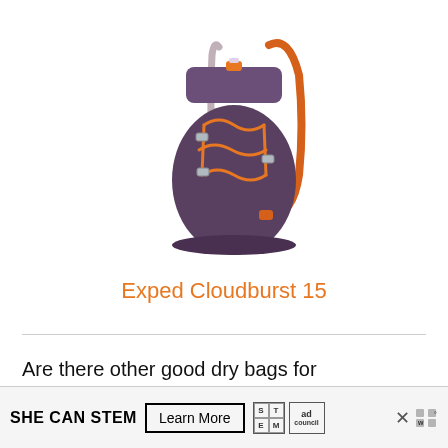[Figure (photo): Purple and orange Exped Cloudburst 15 backpack/dry bag with orange cord lacing on front, orange shoulder straps, and metal buckles. Roll-top closure at top.]
Exped Cloudburst 15
Are there other good dry bags for bikepacking? Certainly! If you already have a d... ...just f...
[Figure (infographic): SHE CAN STEM advertisement banner with Learn More button, STEM grid logo, Ad Council logo, close X button, and adnauseam icon.]